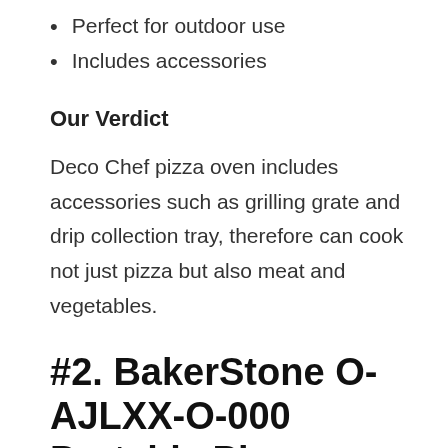Perfect for outdoor use
Includes accessories
Our Verdict
Deco Chef pizza oven includes accessories such as grilling grate and drip collection tray, therefore can cook not just pizza but also meat and vegetables.
#2. BakerStone O-AJLXX-O-000 Portable Pizza Oven